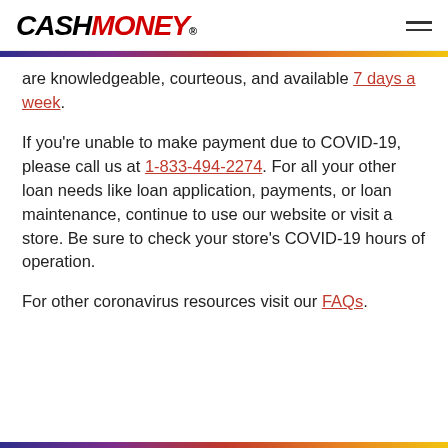CASH MONEY®
are knowledgeable, courteous, and available 7 days a week.
If you're unable to make payment due to COVID-19, please call us at 1-833-494-2274. For all your other loan needs like loan application, payments, or loan maintenance, continue to use our website or visit a store. Be sure to check your store's COVID-19 hours of operation.
For other coronavirus resources visit our FAQs.